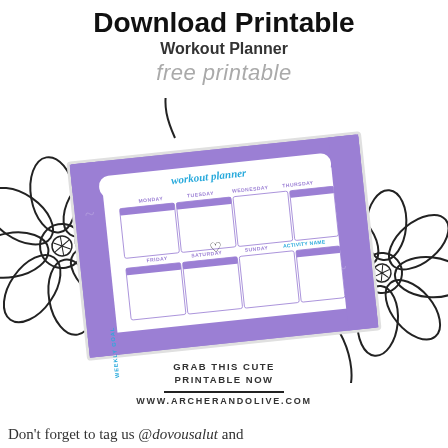Download Printable
Workout Planner
free printable
[Figure (illustration): A tilted workout planner printable sheet with purple decorative border showing a weekly workout grid with days of the week (Monday through Sunday) and activity name column. The planner has a purple/lavender color scheme with 'workout planner' text in teal. Large outline floral illustrations of flowers appear on the left and right sides behind the planner.]
GRAB THIS CUTE
PRINTABLE NOW
WWW.ARCHERANDOLIVE.COM
Don't forget to tag us @dovousalut and